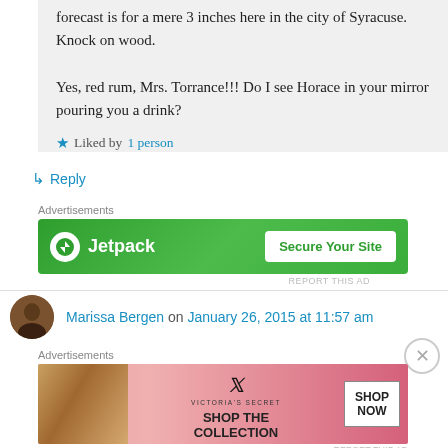forecast is for a mere 3 inches here in the city of Syracuse. Knock on wood.

Yes, red rum, Mrs. Torrance!!! Do I see Horace in your mirror pouring you a drink?
★ Liked by 1 person
↳ Reply
Advertisements
[Figure (screenshot): Jetpack advertisement banner with green background, Jetpack logo and 'Secure Your Site' button]
REPORT THIS AD
Marissa Bergen on January 26, 2015 at 11:57 am
Advertisements
[Figure (screenshot): Victoria's Secret advertisement with pink background, model photo, VS logo, 'SHOP THE COLLECTION' text and 'SHOP NOW' button]